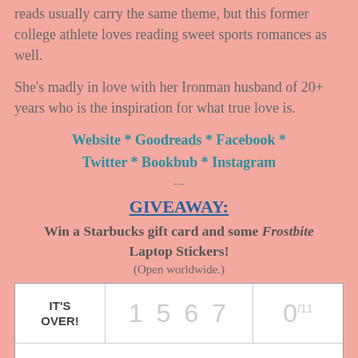reads usually carry the same theme, but this former college athlete loves reading sweet sports romances as well.
She's madly in love with her Ironman husband of 20+ years who is the inspiration for what true love is.
Website * Goodreads * Facebook * Twitter * Bookbub * Instagram
---
GIVEAWAY:
Win a Starbucks gift card and some Frostbite Laptop Stickers! (Open worldwide.)
|  |  |  |
| --- | --- | --- |
| IT'S OVER! | 1 5 6 7 | 0/11 |
|  | a Starbucks gift card |  |